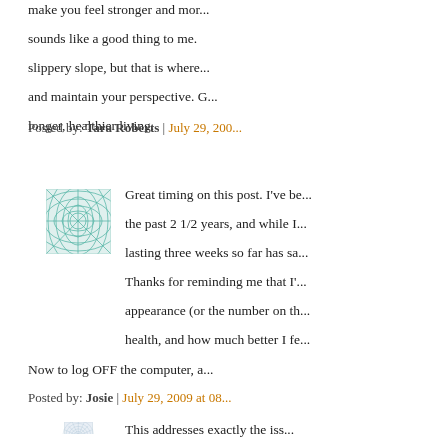make you feel stronger and more confident. That sounds like a good thing to me. It's definitely a slippery slope, but that is where you need to be careful and maintain your perspective. Good health habits lead to longer, healthier living.
Posted by: Tara Roberts | July 29, 200...
[Figure (illustration): Small square avatar image with teal/green geometric grid pattern radiating from center]
Great timing on this post. I've be... the past 2 1/2 years, and while I... lasting three weeks so far has sa... Thanks for reminding me that I'... appearance (or the number on th... health, and how much better I fe...
Now to log OFF the computer, a...
Posted by: Josie | July 29, 2009 at 08...
[Figure (illustration): Small square avatar image with light blue/gray circular mandala pattern]
This addresses exactly the iss...